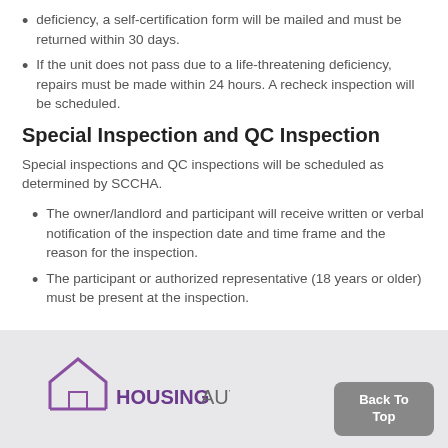deficiency, a self-certification form will be mailed and must be returned within 30 days.
If the unit does not pass due to a life-threatening deficiency, repairs must be made within 24 hours. A recheck inspection will be scheduled.
Special Inspection and QC Inspection
Special inspections and QC inspections will be scheduled as determined by SCCHA.
The owner/landlord and participant will receive written or verbal notification of the inspection date and time frame and the reason for the inspection.
The participant or authorized representative (18 years or older) must be present at the inspection.
[Figure (logo): SCCHA Housing Authority logo with house icon and text HOUSINGAUTHORITY]
Back To Top